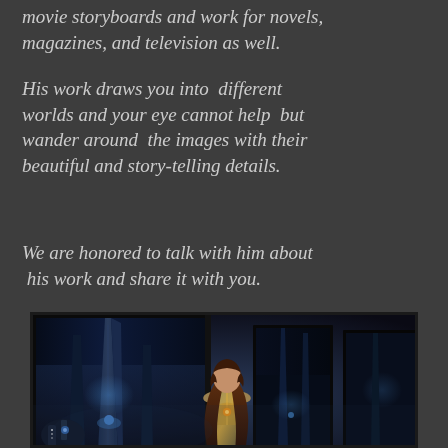movie storyboards and work for novels, magazines, and television as well.
His work draws you into  different worlds and your eye cannot help  but wander around  the images with their beautiful and story-telling details.
We are honored to talk with him about  his work and share it with you.
[Figure (illustration): A science fiction scene showing a woman with long dark hair viewed from behind, standing before large framed artworks depicting a dark futuristic cityscape with tall metallic structures and a glowing light source, rendered in blue and gold tones.]